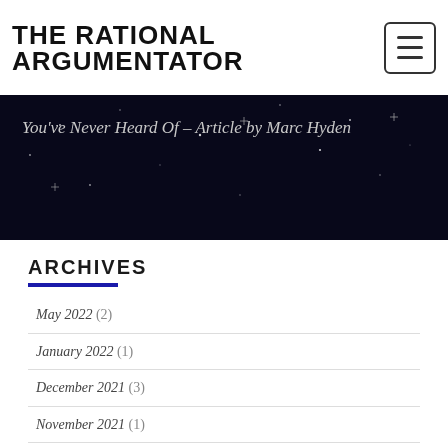THE RATIONAL ARGUMENTATOR
You've Never Heard Of – Article by Marc Hyden
ARCHIVES
May 2022 (2)
January 2022 (1)
December 2021 (3)
November 2021 (1)
September 2021 (1)
August 2021 (2)